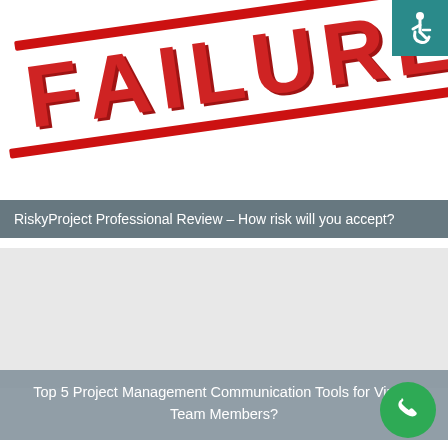[Figure (illustration): Large red bold 'FAILURE' stamp text tilted at an angle with red bars above and below, on a white background]
[Figure (logo): Accessibility wheelchair icon in white on teal/dark cyan background square in top-right corner]
RiskyProject Professional Review – How risk will you accept?
[Figure (illustration): Light grey rectangle placeholder image area]
Top 5 Project Management Communication Tools for Virtual Team Members?
[Figure (illustration): Green circular phone/call button icon in bottom-right corner]